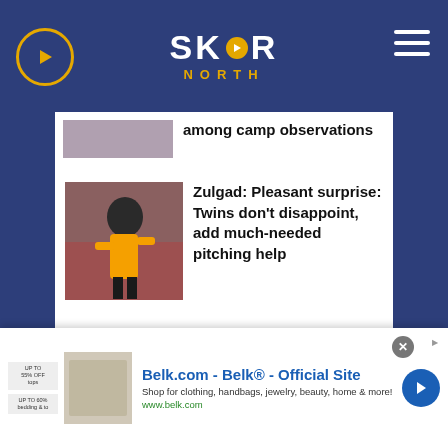[Figure (logo): SKOR North logo with play button icon and menu icon on dark blue header]
among camp observations
[Figure (photo): Baseball pitcher in orange and black uniform]
Zulgad: Pleasant surprise: Twins don't disappoint, add much-needed pitching help
[Figure (logo): Federated Insurance advertisement - It's Our Business to Protect Yours]
[Figure (screenshot): Belk.com advertisement - Belk® - Official Site. Shop for clothing, handbags, jewelry, beauty, home & more! www.belk.com]